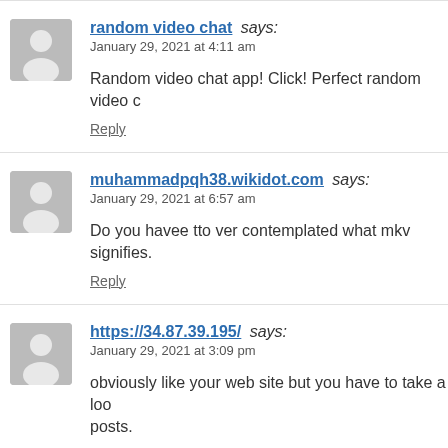random video chat says: January 29, 2021 at 4:11 am — Random video chat app! Click! Perfect random video c… — Reply
muhammadpqh38.wikidot.com says: January 29, 2021 at 6:57 am — Do you havee tto ver contemplated what mkv signifies. — Reply
https://34.87.39.195/ says: January 29, 2021 at 3:09 pm — obviously like your web site but you have to take a loo… posts.